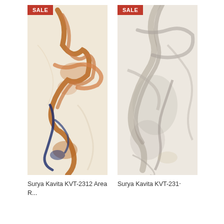[Figure (photo): Surya Kavita KVT-2312 area rug with cream/ivory base and swirling orange-brown and navy blue marble pattern, with a red SALE badge in top-left corner]
Surya Kavita KVT-2312 Area R...
[Figure (photo): Surya Kavita KVT-231* area rug with cream/ivory base and flowing gray marble swirl pattern, with a red SALE badge in top-left corner]
Surya Kavita KVT-231•